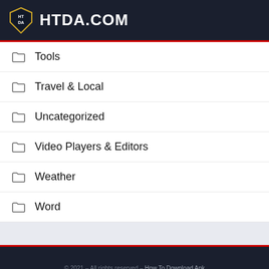HTDA.COM
Tools
Travel & Local
Uncategorized
Video Players & Editors
Weather
Word
© 2021 – All rights reserved – How To Download Apk
HTDA.COM